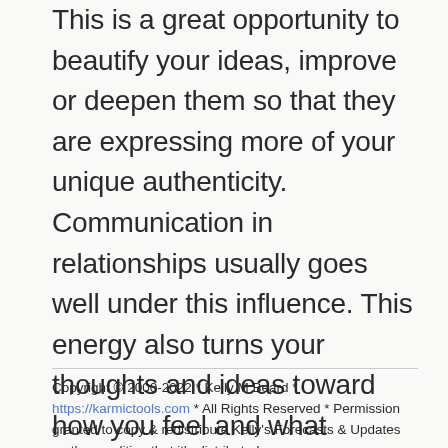This is a great opportunity to beautify your ideas, improve or deepen them so that they are expressing more of your unique authenticity. Communication in relationships usually goes well under this influence. This energy also turns your thoughts and ideas toward how you feel and what inspires you with love & beauty. This is a great time to be particularly creative or do something that activates your own Inner Artist. It is best to keep it light and let go of your mundane burdens just for a time. Pleasure reading, a walk on the beach, a play or museum are all good things to do at some point this week, if possible.
Copyright © 2000-2022 * Kelly M Beard * https://karmictools.com * All Rights Reserved * Permission granted to copy & redistribute Kelly's Forecasts & Updates on the condition that it's distributed